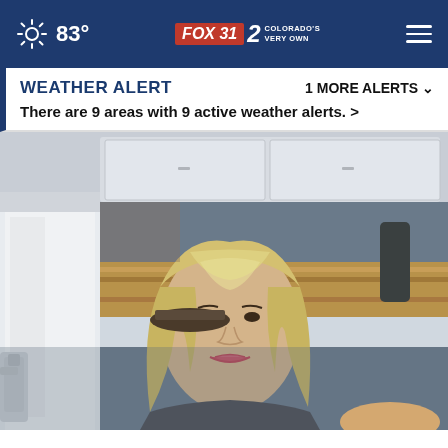83° FOX 31 2 COLORADO'S VERY OWN
WEATHER ALERT — There are 9 areas with 9 active weather alerts. > — 1 MORE ALERTS ˅
[Figure (photo): Video screenshot showing a person in a white lab coat holding a spray bottle next to a mannequin head with blonde hair in a salon or kitchen setting.]